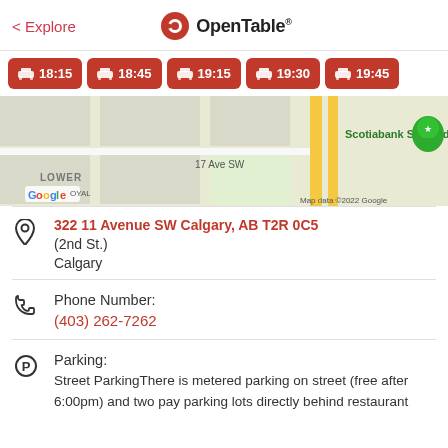< Explore | OpenTable
18:15
18:45
19:15
19:30
19:45
[Figure (map): Google Maps showing location near Scotiabank Saddledome, 17 Ave SW, Lower Royal, Calgary. Map data ©2022 Google.]
322 11 Avenue SW Calgary, AB T2R 0C5
(2nd St.)
Calgary
Phone Number:
(403) 262-7262
Parking:
Street ParkingThere is metered parking on street (free after 6:00pm) and two pay parking lots directly behind restaurant